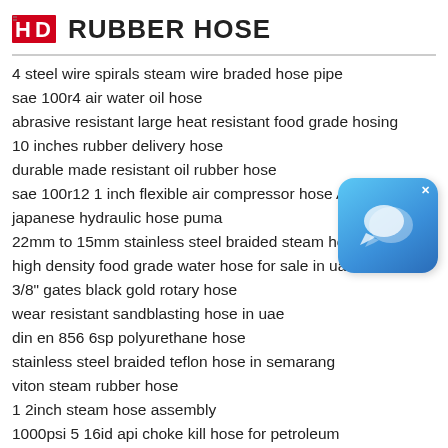HD RUBBER HOSE
4 steel wire spirals steam wire braded hose pipe
sae 100r4 air water oil hose
abrasive resistant large heat resistant food grade hosing
10 inches rubber delivery hose
durable made resistant oil rubber hose
sae 100r12 1 inch flexible air compressor hose Afri
japanese hydraulic hose puma
22mm to 15mm stainless steel braided steam hose
high density food grade water hose for sale in uae
3/8" gates black gold rotary hose
wear resistant sandblasting hose in uae
din en 856 6sp polyurethane hose
stainless steel braided teflon hose in semarang
viton steam rubber hose
1 2inch steam hose assembly
1000psi 5 16id api choke kill hose for petroleum
[Figure (illustration): Blue rounded-square chat/messaging app icon with two overlapping speech bubble icons, with a white X close button in the top right corner]